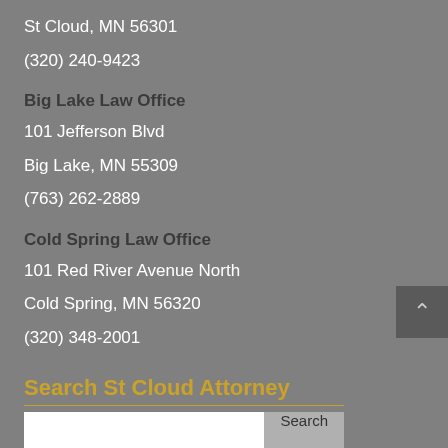St Cloud, MN 56301
(320) 240-9423
Big Lake Law Office
101 Jefferson Blvd
Big Lake, MN 55309
(763) 262-2889
Cold Spring Law Office
101 Red River Avenue North
Cold Spring, MN 56320
(320) 348-2001
Search St Cloud Attorney
Search